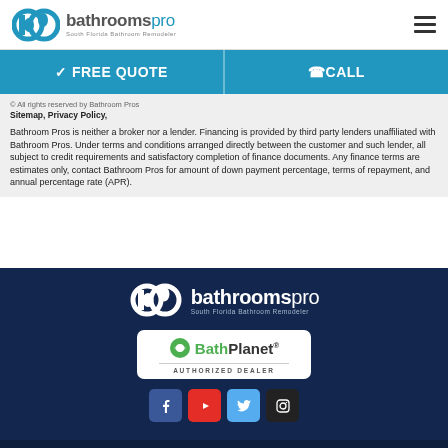bathroomspro South Florida Bathroom Remodeler
✓ FREE QUOTE
☎ CALL
© All rights reserved by Bathroom Pros
Sitemap, Privacy Policy,
Bathroom Pros is neither a broker nor a lender. Financing is provided by third party lenders unaffiliated with Bathroom Pros. Under terms and conditions arranged directly between the customer and such lender, all subject to credit requirements and satisfactory completion of finance documents. Any finance terms are estimates only, contact Bathroom Pros for amount of down payment percentage, terms of repayment, and annual percentage rate (APR).
[Figure (logo): bathroomspro South Florida Bathroom Remodeler logo in white on dark blue background]
[Figure (logo): Bath Planet Authorized Dealer badge]
[Figure (illustration): Social media icons: Facebook, YouTube, Twitter, Instagram]